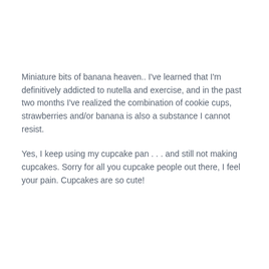Miniature bits of banana heaven.. I've learned that I'm definitively addicted to nutella and exercise, and in the past two months I've realized the combination of cookie cups, strawberries and/or banana is also a substance I cannot resist.
Yes, I keep using my cupcake pan . . . and still not making cupcakes. Sorry for all you cupcake people out there, I feel your pain. Cupcakes are so cute!